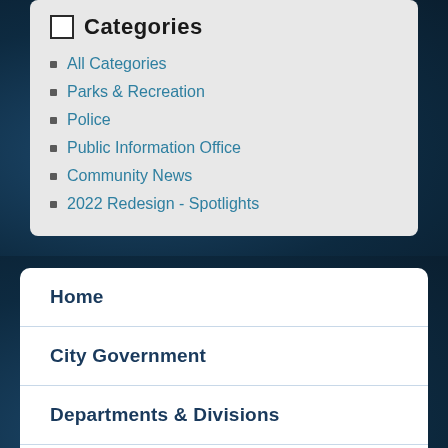Categories
All Categories
Parks & Recreation
Police
Public Information Office
Community News
2022 Redesign - Spotlights
Home
City Government
Departments & Divisions
Staff Directory
Contact Us